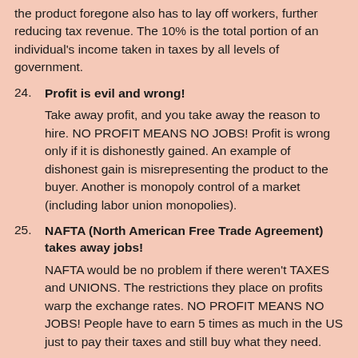the product foregone also has to lay off workers, further reducing tax revenue. The 10% is the total portion of an individual's income taken in taxes by all levels of government.
24. Profit is evil and wrong!
Take away profit, and you take away the reason to hire. NO PROFIT MEANS NO JOBS! Profit is wrong only if it is dishonestly gained. An example of dishonest gain is misrepresenting the product to the buyer. Another is monopoly control of a market (including labor union monopolies).
25. NAFTA (North American Free Trade Agreement) takes away jobs!
NAFTA would be no problem if there weren't TAXES and UNIONS. The restrictions they place on profits warp the exchange rates. NO PROFIT MEANS NO JOBS! People have to earn 5 times as much in the US just to pay their taxes and still buy what they need.
26. Each person who wants a job must be given